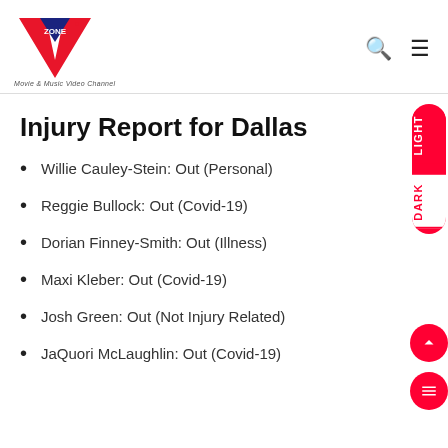[Figure (logo): V Zone logo with red V shape and blue triangle with ZONE text, tagline 'Movie & Music Video Channel']
Injury Report for Dallas
Willie Cauley-Stein: Out (Personal)
Reggie Bullock: Out (Covid-19)
Dorian Finney-Smith: Out (Illness)
Maxi Kleber: Out (Covid-19)
Josh Green: Out (Not Injury Related)
JaQuori McLaughlin: Out (Covid-19)